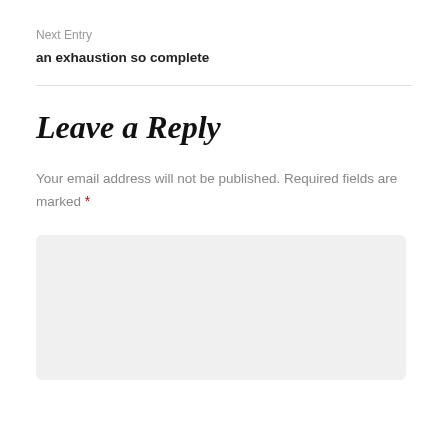Next Entry
an exhaustion so complete
Leave a Reply
Your email address will not be published. Required fields are marked *